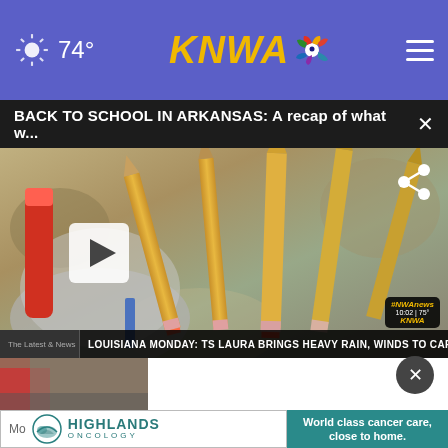74° KNWA [NBC logo] ☰
BACK TO SCHOOL IN ARKANSAS: A recap of what w...
[Figure (photo): Video thumbnail showing pencils in a holder/cup, school supplies, blurred background. Play button overlay visible. News ticker at bottom reads: LOUISIANA MONDAY: TS LAURA BRINGS HEAVY RAIN, WINDS TO CARIBBEAN. LOCAL badge on right.]
[Figure (photo): Small thumbnail image strip at bottom left, showing a person in red jacket]
× (close button circle)
Mo  Highlands Oncology logo  HIGHLANDS ONCOLOGY | World class cancer care, close to home.